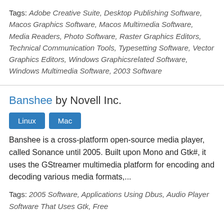Tags: Adobe Creative Suite, Desktop Publishing Software, Macos Graphics Software, Macos Multimedia Software, Media Readers, Photo Software, Raster Graphics Editors, Technical Communication Tools, Typesetting Software, Vector Graphics Editors, Windows Graphicsrelated Software, Windows Multimedia Software, 2003 Software
Banshee by Novell Inc.
Linux  Mac
Banshee is a cross-platform open-source media player, called Sonance until 2005. Built upon Mono and Gtk#, it uses the GStreamer multimedia platform for encoding and decoding various media formats,...
Tags: 2005 Software, Applications Using Dbus, Audio Player Software That Uses Gtk, Free